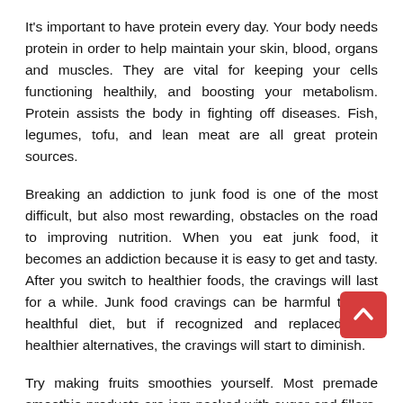It's important to have protein every day. Your body needs protein in order to help maintain your skin, blood, organs and muscles. They are vital for keeping your cells functioning healthily, and boosting your metabolism. Protein assists the body in fighting off diseases. Fish, legumes, tofu, and lean meat are all great protein sources.
Breaking an addiction to junk food is one of the most difficult, but also most rewarding, obstacles on the road to improving nutrition. When you eat junk food, it becomes an addiction because it is easy to get and tasty. After you switch to healthier foods, the cravings will last for a while. Junk food cravings can be harmful to any healthful diet, but if recognized and replaced with healthier alternatives, the cravings will start to diminish.
Try making fruits smoothies yourself. Most premade smoothie products are jam packed with sugar and fillers. You can make it as nutritious as your imagination dictates! It is also much simpler to add to your diet. Use fresh ingredients, such as skim
[Figure (other): Scroll-to-top button: a red/dark-red rounded square with a white upward-pointing chevron arrow, positioned at the bottom-right of the page.]